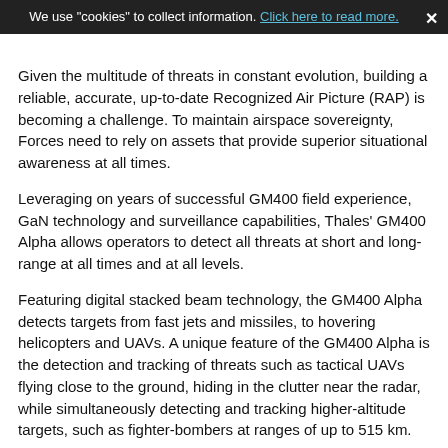We use "cookies" to collect information. Click here to read more. ×
Given the multitude of threats in constant evolution, building a reliable, accurate, up-to-date Recognized Air Picture (RAP) is becoming a challenge. To maintain airspace sovereignty, Forces need to rely on assets that provide superior situational awareness at all times.
Leveraging on years of successful GM400 field experience, GaN technology and surveillance capabilities, Thales' GM400 Alpha allows operators to detect all threats at short and long-range at all times and at all levels.
Featuring digital stacked beam technology, the GM400 Alpha detects targets from fast jets and missiles, to hovering helicopters and UAVs. A unique feature of the GM400 Alpha is the detection and tracking of threats such as tactical UAVs flying close to the ground, hiding in the clutter near the radar, while simultaneously detecting and tracking higher-altitude targets, such as fighter-bombers at ranges of up to 515 km.
By applying the latest processing technology, 5 times more powerful, as well as advanced detection algorithms, the radar can process large amounts of complex data. The result is an immediate improvement in detection range, up to 515 km or 278 NM.